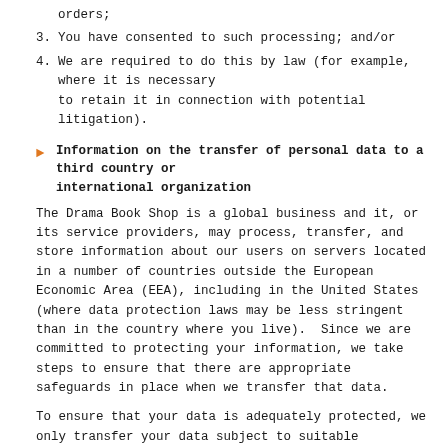orders;
3. You have consented to such processing; and/or
4. We are required to do this by law (for example, where it is necessary to retain it in connection with potential litigation).
Information on the transfer of personal data to a third country or international organization
The Drama Book Shop is a global business and it, or its service providers, may process, transfer, and store information about our users on servers located in a number of countries outside the European Economic Area (EEA), including in the United States (where data protection laws may be less stringent than in the country where you live). Since we are committed to protecting your information, we take steps to ensure that there are appropriate safeguards in place when we transfer that data.
To ensure that your data is adequately protected, we only transfer your data subject to suitable safeguards being in place. Where applicable, we only transfer your personal data subject to suitable safeguards being in place, such as through Privacy Shield certified organizations. To find out more about how we safeguard your information (including obtaining a copy of such safeguards) in relation to transfers outside the EEA, please contact us at info@dramabookshop.com